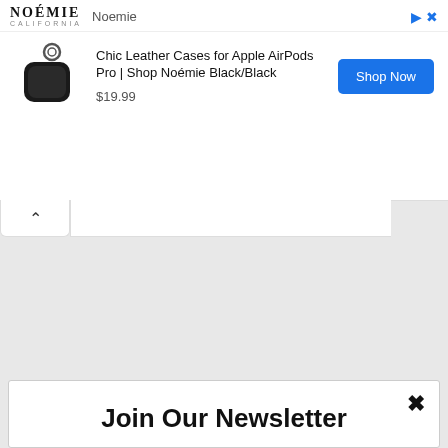[Figure (screenshot): Noémie brand advertisement banner for Chic Leather Cases for Apple AirPods Pro, showing product image, price $19.99, and Shop Now button]
Chic Leather Cases for Apple AirPods Pro | Shop Noémie Black/Black
$19.99
Join Our Newsletter
Signup today for free and be the first to get notified on new updates.
Enter your email
Subscribe
powered by MailMunch